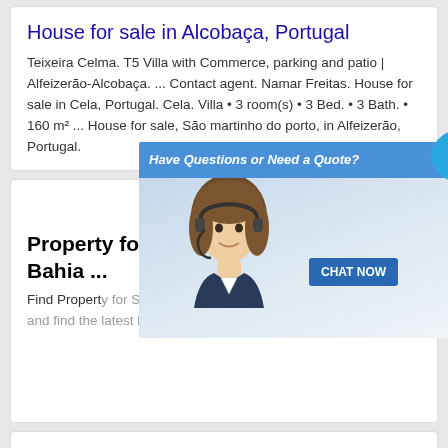House for sale in Alcobaça, Portugal
Teixeira Celma. T5 Villa with Commerce, parking and patio | Alfeizerão-Alcobaça. ... Contact agent. Namar Freitas. House for sale in Cela, Portugal. Cela. Villa • 3 room(s) • 3 Bed. • 3 Bath. • 160 m² ... House for sale, São martinho do porto, in Alfeizerão, Portugal.
[Figure (screenshot): Advertisement popup overlay showing a woman with headset and 'Have Questions or Need a Quote?' banner with Live Chat bubble and CHAT NOW button]
Property for Sale in Teixeira de Freitas, Bahia ...
Find Property for Sale in Teixeira de Freitas, Bahia. Search for real estate and find the latest listings of Teixeira de Freitas Property for sale.
china mining equipment crusher coal pamacom
china mining equipment crusher coal pamacom; crusher